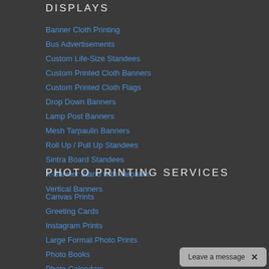DISPLAYS
Banner Cloth Printing
Bus Advertisements
Custom Life-Size Standees
Custom Printed Cloth Banners
Custom Printed Cloth Flags
Drop Down Banners
Lamp Post Banners
Mesh Tarpaulin Banners
Roll Up / Pull Up Standees
Sintra Board Standees
X-Banner Stand with Tarpaulin
Vertical Banners
PHOTO PRINTING SERVICES
Canvas Prints
Greeting Cards
Instagram Prints
Large Format Photo Prints
Photo Books
Photo Calendars
Photo Plates